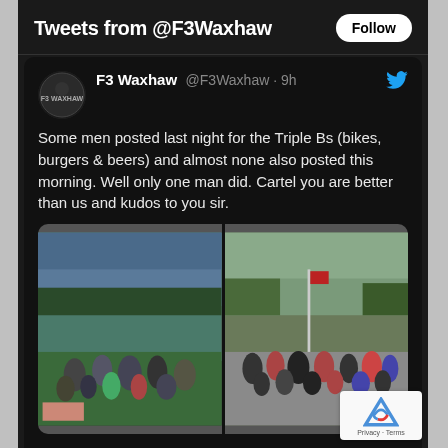Tweets from @F3Waxhaw
F3 Waxhaw @F3Waxhaw · 9h
Some men posted last night for the Triple Bs (bikes, burgers & beers) and almost none also posted this morning. Well only one man did. Cartel you are better than us and kudos to you sir.
[Figure (photo): Two group photos side by side: left photo shows a large group of people gathered outdoors on grass at dusk/evening; right photo shows a group of people standing together outdoors on pavement near a flag, appears to be early morning.]